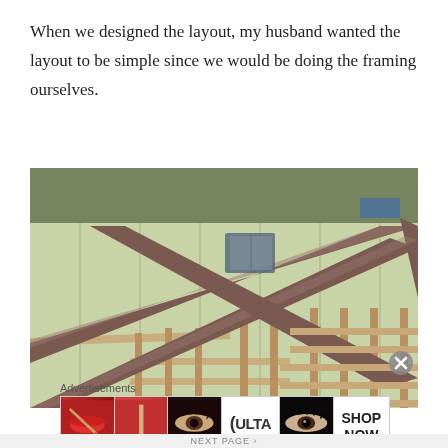When we designed the layout, my husband wanted the layout to be simple since we would be doing the framing ourselves.
[Figure (photo): Aerial view of a building under construction showing wooden wall framing and metal roof trusses/ridge beams installed on top, with trees visible in the background.]
Advertisements
[Figure (photo): Ulta Beauty advertisement banner showing makeup-themed images: red lips with brush, foundation brush, eye with dramatic makeup, Ulta Beauty logo, dramatic eye makeup close-up, and SHOP NOW call to action.]